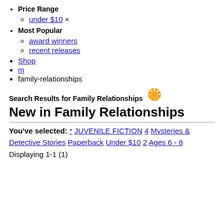Price Range
under $10 ×
Most Popular
award winners
recent releases
Shop
m
family-relationships
Search Results for Family Relationships
New in Family Relationships
You've selected: * JUVENILE FICTION 4 Mysteries & Detective Stories Paperback Under $10 2 Ages 6 - 8
Displaying 1-1 (1)